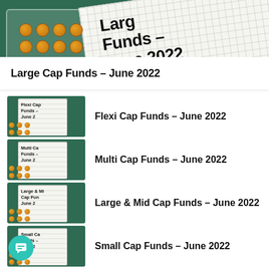[Figure (photo): Top banner showing an abacus calculator on a dark green background with a grid paper showing 'Large Cap Funds – June 2022' text]
Large Cap Funds – June 2022
Flexi Cap Funds – June 2022
Multi Cap Funds – June 2022
Large & Mid Cap Funds – June 2022
Small Cap Funds – June 2022